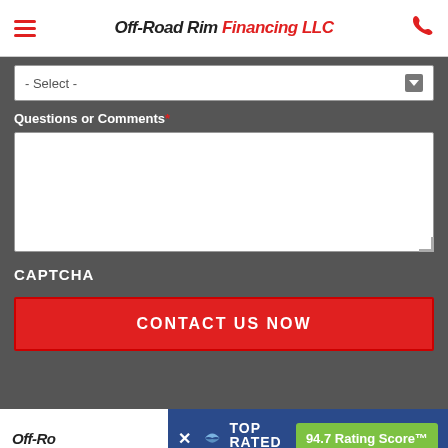Off-Road Rim Financing LLC
- Select -
Questions or Comments *
CAPTCHA
CONTACT US NOW
Off-Ro
[Figure (screenshot): Top Rated National banner with 94.7 Rating Score]